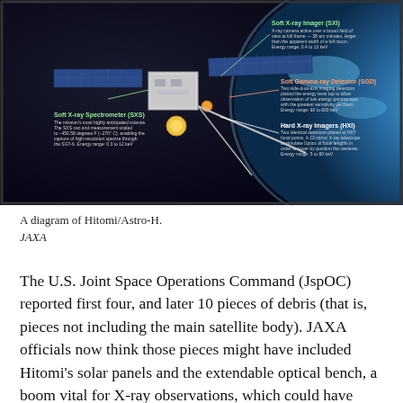[Figure (infographic): A diagram of the Hitomi/Astro-H spacecraft showing labeled components: Soft X-ray Imager (SXI), Soft Gamma-ray Detector (SGD), Hard X-ray Imager (HXI), and Soft X-ray Spectrometer (SXS). The spacecraft is shown against a backdrop of Earth from space, with solar panels and a long extendable boom visible.]
A diagram of Hitomi/Astro-H.
JAXA
The U.S. Joint Space Operations Command (JspOC) reported first four, and later 10 pieces of debris (that is, pieces not including the main satellite body). JAXA officials now think those pieces might have included Hitomi's solar panels and the extendable optical bench, a boom vital for X-ray observations, which could have broken off as the spacecraft upped its spin rate. To make matters worse, JAXA believes the helium needed for the Soft X-ray Imager (SXS) has now fallen to a critical level, though it's not yet